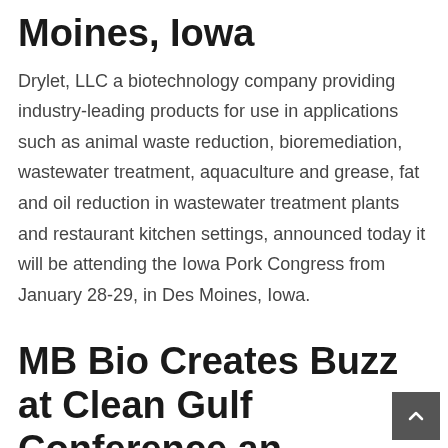Moines, Iowa
Drylet, LLC a biotechnology company providing industry-leading products for use in applications such as animal waste reduction, bioremediation, wastewater treatment, aquaculture and grease, fat and oil reduction in wastewater treatment plants and restaurant kitchen settings, announced today it will be attending the Iowa Pork Congress from January 28-29, in Des Moines, Iowa.
MB Bio Creates Buzz at Clean Gulf Conference an